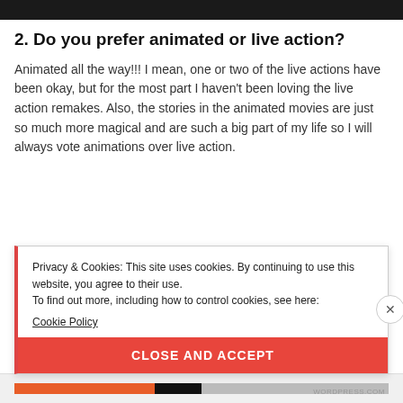[Figure (photo): Dark photo bar at the top of the page, partially visible]
2. Do you prefer animated or live action?
Animated all the way!!! I mean, one or two of the live actions have been okay, but for the most part I haven't been loving the live action remakes. Also, the stories in the animated movies are just so much more magical and are such a big part of my life so I will always vote animations over live action.
Privacy & Cookies: This site uses cookies. By continuing to use this website, you agree to their use.
To find out more, including how to control cookies, see here:
Cookie Policy
CLOSE AND ACCEPT